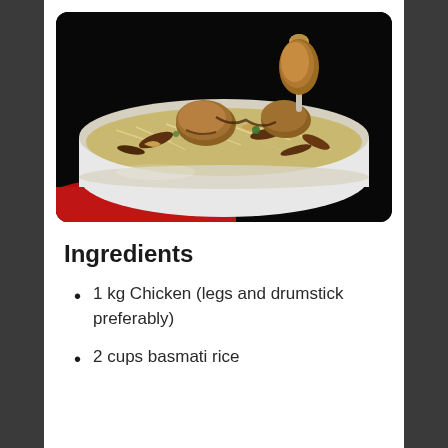[Figure (photo): A white rectangular dish filled with chicken biryani — basmati rice topped with chicken drumsticks, fried onions, cashews, and fresh herbs, placed on a red cloth against a dark background.]
Ingredients
1 kg Chicken (legs and drumstick preferably)
2 cups basmati rice